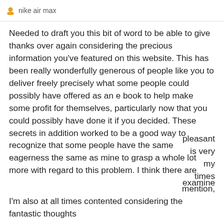nike air max
Needed to draft you this bit of word to be able to give thanks over again considering the precious information you've featured on this website. This has been really wonderfully generous of people like you to deliver freely precisely what some people could possibly have offered as an e book to help make some profit for themselves, particularly now that you could possibly have done it if you decided. These secrets in addition worked to be a good way to recognize that some people have the same eagerness the same as mine to grasp a whole lot more with regard to this problem. I think there are [partially obscured] examine
By using our services, you agree that we and our partners use cookies to improve advertising and enhance your experience on our services. Learn more
OK
pleasant is very my times mention, I'm also at all times contented considering the fantastic thoughts